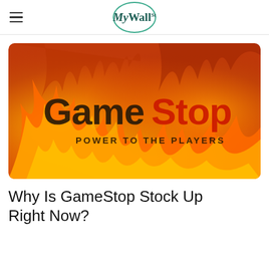MyWallSt
[Figure (photo): GameStop logo with 'Game' in dark lettering and 'Stop' in red lettering, and tagline 'POWER TO THE PLAYERS' on a dramatic fire/flame background in orange and red tones.]
Why Is GameStop Stock Up Right Now?